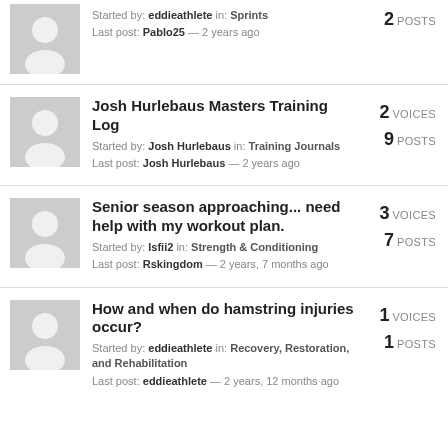Started by: eddieathlete in: Sprints
Last post: Pablo25 — 2 years ago
2 POSTS
Josh Hurlebaus Masters Training Log
Started by: Josh Hurlebaus in: Training Journals
Last post: Josh Hurlebaus — 2 years ago
2 VOICES
9 POSTS
Senior season approaching... need help with my workout plan.
Started by: lsfii2 in: Strength & Conditioning
Last post: Rskingdom — 2 years, 7 months ago
3 VOICES
7 POSTS
How and when do hamstring injuries occur?
Started by: eddieathlete in: Recovery, Restoration, and Rehabilitation
Last post: eddieathlete — 2 years, 12 months ago
1 VOICES
1 POSTS